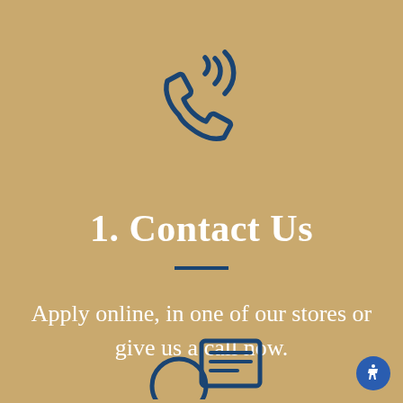[Figure (illustration): Phone handset icon with signal waves, drawn in dark blue outline style on a tan/gold background]
1. Contact Us
Apply online, in one of our stores or give us a call now.
[Figure (illustration): Partial icon at bottom center showing what appears to be a credit card or document reader device, drawn in dark blue outline style]
[Figure (illustration): Blue circular accessibility button in the bottom right corner with a person icon]